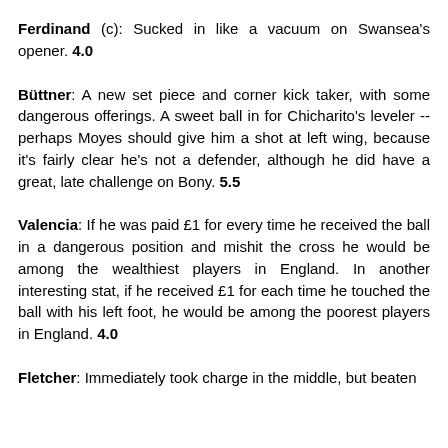Ferdinand (c): Sucked in like a vacuum on Swansea's opener. 4.0
Büttner: A new set piece and corner kick taker, with some dangerous offerings. A sweet ball in for Chicharito's leveler -- perhaps Moyes should give him a shot at left wing, because it's fairly clear he's not a defender, although he did have a great, late challenge on Bony. 5.5
Valencia: If he was paid £1 for every time he received the ball in a dangerous position and mishit the cross he would be among the wealthiest players in England. In another interesting stat, if he received £1 for each time he touched the ball with his left foot, he would be among the poorest players in England. 4.0
Fletcher: Immediately took charge in the middle, but beaten